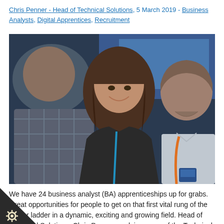Chris Penner - Head of Technical Solutions, 5 March 2019 - Business Analysts, Digital Apprentices, Recruitment
[Figure (photo): Three people in a professional/office setting. A man with his back to camera on the left in a plaid shirt, a smiling woman with long brown hair in the center wearing a dark jacket with a blue lanyard, and a tall man on the right in a light shirt with an orange lanyard.]
We have 24 business analyst (BA) apprenticeships up for grabs. Great opportunities for people to get on that first vital rung of the career ladder in a dynamic, exciting and growing field. Head of Technical Solutions, Chris Penner, explains some of the Technical apprenticeship opportunities